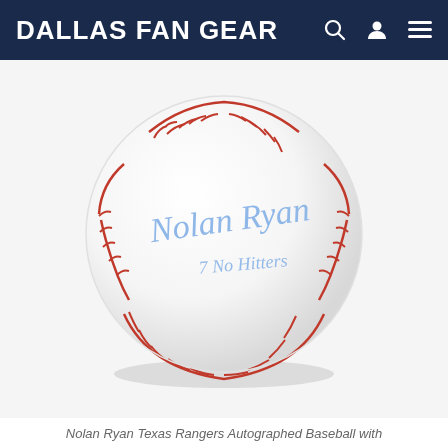DALLAS FAN GEAR
[Figure (photo): Autographed Nolan Ryan Texas Rangers baseball with blue ink signature reading 'Nolan Ryan 7 No Hitters' on white MLB Official baseball with red stitching, centered on white/light gray background.]
Nolan Ryan Texas Rangers Autographed Baseball with